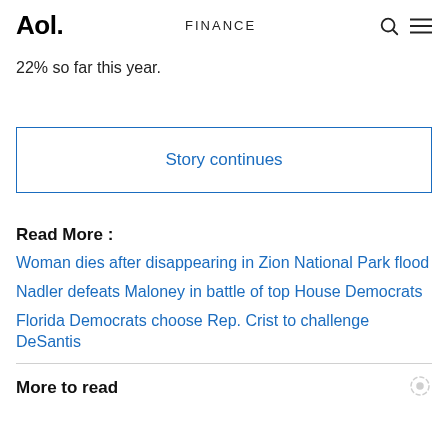Aol. FINANCE
22% so far this year.
Story continues
Read More :
Woman dies after disappearing in Zion National Park flood
Nadler defeats Maloney in battle of top House Democrats
Florida Democrats choose Rep. Crist to challenge DeSantis
More to read